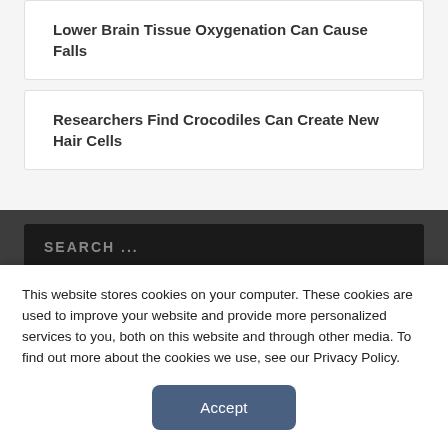Lower Brain Tissue Oxygenation Can Cause Falls
Researchers Find Crocodiles Can Create New Hair Cells
SEARCH ...
This website stores cookies on your computer. These cookies are used to improve your website and provide more personalized services to you, both on this website and through other media. To find out more about the cookies we use, see our Privacy Policy.
Accept